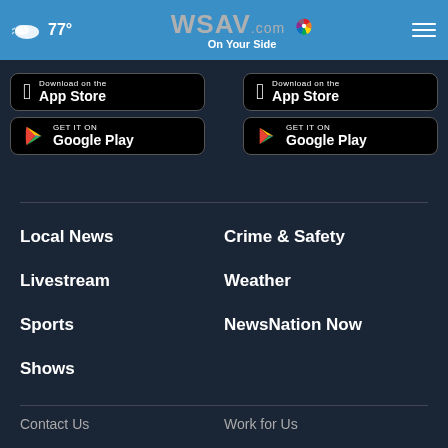77° WSAV.com On Your Side
[Figure (screenshot): Download on the App Store button (left)]
[Figure (screenshot): GET IT ON Google Play button (left)]
[Figure (screenshot): Download on the App Store button (right)]
[Figure (screenshot): GET IT ON Google Play button (right)]
Local News
Crime & Safety
Livestream
Weather
Sports
NewsNation Now
Shows
Contact Us
Work for Us